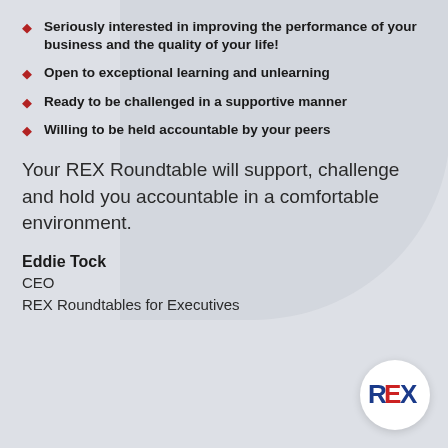Seriously interested in improving the performance of your business and the quality of your life!
Open to exceptional learning and unlearning
Ready to be challenged in a supportive manner
Willing to be held accountable by your peers
Your REX Roundtable will support, challenge and hold you accountable in a comfortable environment.
Eddie Tock
CEO
REX Roundtables for Executives
[Figure (logo): REX Roundtables for Executives logo in a white circle, bottom right corner]